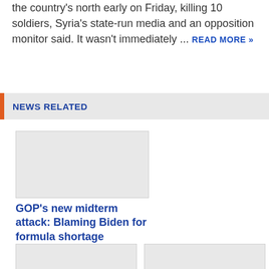the country's north early on Friday, killing 10 soldiers, Syria's state-run media and an opposition monitor said. It wasn't immediately ... READ MORE »
NEWS RELATED
[Figure (photo): Placeholder image for GOP midterm article]
GOP's new midterm attack: Blaming Biden for formula shortage
[Figure (photo): Placeholder image for related article bottom left]
[Figure (photo): Placeholder image for related article bottom right]